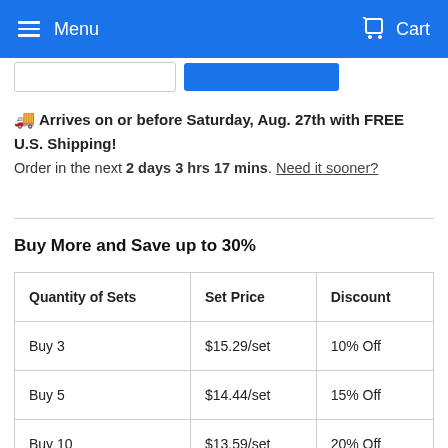Menu  Cart
🚚 Arrives on or before Saturday, Aug. 27th with FREE U.S. Shipping! Order in the next 2 days 3 hrs 17 mins. Need it sooner?
Buy More and Save up to 30%
| Quantity of Sets | Set Price | Discount |
| --- | --- | --- |
| Buy 3 | $15.29/set | 10% Off |
| Buy 5 | $14.44/set | 15% Off |
| Buy 10 | $13.59/set | 20% Off |
| Buy 25 | $13.74/set | 25% Off |